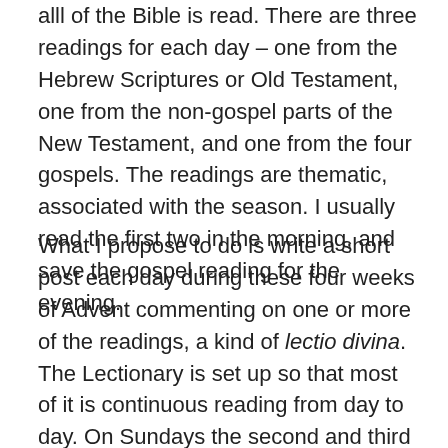alll of the Bible is read. There are three readings for each day – one from the Hebrew Scriptures or Old Testament, one from the non-gospel parts of the New Testament, and one from the four gospels. The readings are thematic, associated with the season. I usually read the first two in the morning, and save the gospel reading for the evening.
What I propose to do is write a short post each day during these four weeks of Advent commenting on one or more of the readings, a kind of lectio divina. The Lectionary is set up so that most of it is continuous reading from day to day. On Sundays the second and third readings are not in sequence with what what went before and follows in the week, but they do follow from Sunday to Sunday, on the theory that people might be attending Sunday evensong and might benefit from that continuity. There is one interruption in the lectionary for the major feast day of St.